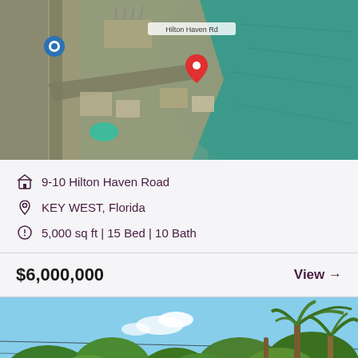[Figure (map): Aerial map view of 9-10 Hilton Haven Road, Key West, Florida showing the property location with a red pin marker and a blue navigation marker, surrounded by water and land]
9-10 Hilton Haven Road
KEY WEST, Florida
5,000 sq ft | 15 Bed | 10 Bath
$6,000,000
View →
[Figure (photo): Exterior photo of a residential property in Key West, Florida showing palm trees, tropical vegetation and a house in the background under a blue sky]